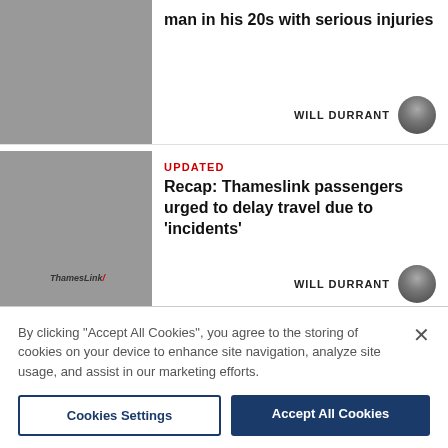[Figure (photo): Exterior of a red brick building (train/bus station) with dark windows at night or dusk]
man in his 20s with serious injuries
WILL DURRANT
[Figure (photo): Thameslink train at a platform with passengers, ThamesLink logo visible on train side]
UPDATED
Recap: Thameslink passengers urged to delay travel due to 'incidents'
WILL DURRANT
[Figure (photo): Police officers in high-visibility vests at a service station]
Man 'assaulted' and hit by chair in Baldock service station
By clicking "Accept All Cookies", you agree to the storing of cookies on your device to enhance site navigation, analyze site usage, and assist in our marketing efforts.
Cookies Settings
Accept All Cookies